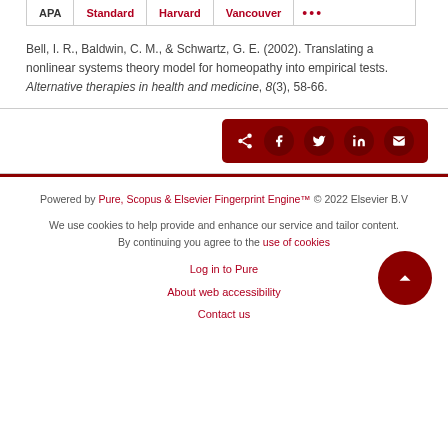APA | Standard | Harvard | Vancouver | ...
Bell, I. R., Baldwin, C. M., & Schwartz, G. E. (2002). Translating a nonlinear systems theory model for homeopathy into empirical tests. Alternative therapies in health and medicine, 8(3), 58-66.
[Figure (other): Share button bar with social media icons: share, Facebook, Twitter, LinkedIn, email]
Powered by Pure, Scopus & Elsevier Fingerprint Engine™ © 2022 Elsevier B.V
We use cookies to help provide and enhance our service and tailor content. By continuing you agree to the use of cookies
Log in to Pure
About web accessibility
Contact us